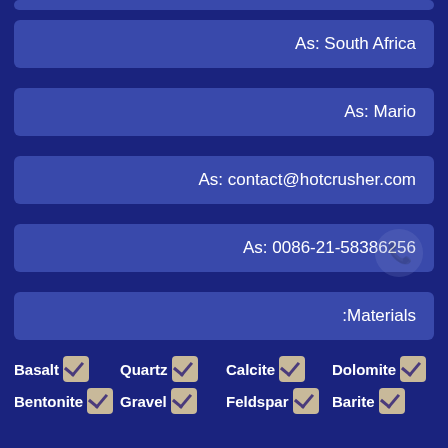As: South Africa
As: Mario
As: contact@hotcrusher.com
As: 0086-21-58386256
:Materials
Basalt
Quartz
Calcite
Dolomite
Bentonite
Gravel
Feldspar
Barite